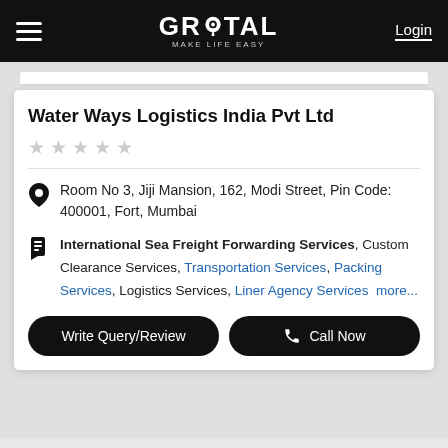GROTAL MAKE LIFE EASY  Login
Water Ways Logistics India Pvt Ltd
Room No 3, Jiji Mansion, 162, Modi Street, Pin Code: 400001, Fort, Mumbai
International Sea Freight Forwarding Services, Custom Clearance Services, Transportation Services, Packing Services, Logistics Services, Liner Agency Services more...